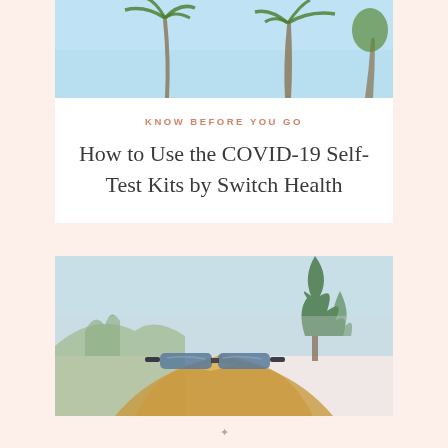[Figure (photo): Top portion showing palm trees against a light blue sky]
KNOW BEFORE YOU GO
How to Use the COVID-19 Self-Test Kits by Switch Health
[Figure (photo): Woman with blonde hair and sunglasses on her head, outdoors with trees and sky in background]